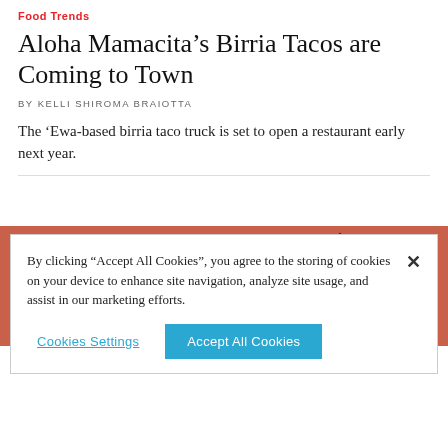Food Trends
Aloha Mamacita’s Birria Tacos are Coming to Town
BY KELLI SHIROMA BRAIOTTA
The ‘Ewa-based birria taco truck is set to open a restaurant early next year.
[Figure (photo): Close-up photo of birria tacos on a white plate with an orange-red background. The tacos appear dark and crispy with protruding skewers or sticks.]
By clicking “Accept All Cookies”, you agree to the storing of cookies on your device to enhance site navigation, analyze site usage, and assist in our marketing efforts.